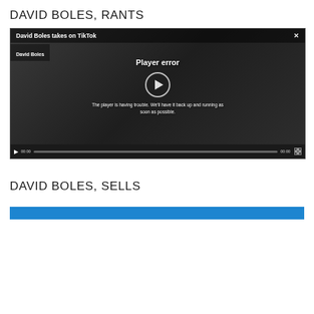DAVID BOLES, RANTS
[Figure (screenshot): Video player showing 'David Boles takes on TikTok' with a player error message. The video shows a person in a studio with acoustic panels and a guitar. Overlay text reads 'Player error' and 'The player is having trouble. We'll have it back up and running as soon as possible.' A play button circle is visible. Controls show 00:00 timestamps and a progress bar.]
DAVID BOLES, SELLS